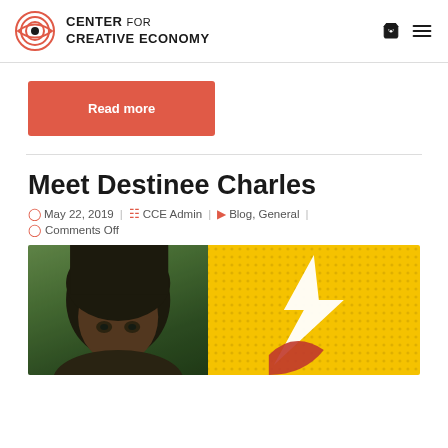Center for Creative Economy
Read more
Meet Destinee Charles
May 22, 2019 | CCE Admin | Blog, General | Comments Off
[Figure (photo): Photo of Destinee Charles on left side and a yellow comic-style graphic with lightning bolt on right side]